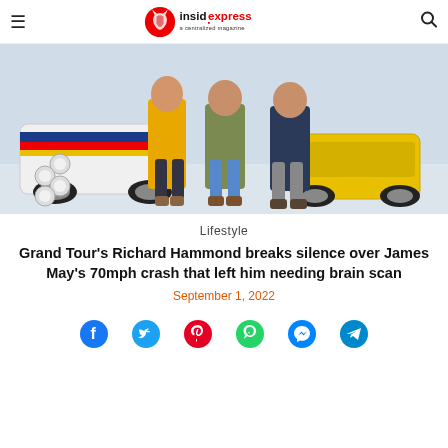insidexpress — a centralized magazine
[Figure (photo): Three men standing in a snowy landscape in front of rally cars. The man on the left wears a bright yellow jacket, the man in the center wears an olive/khaki coat and jeans, and the man on the right wears a dark navy jacket. Behind them are two cars: a white Subaru Impreza with Martini racing livery on the left and a yellow car on the right.]
Lifestyle
Grand Tour's Richard Hammond breaks silence over James May's 70mph crash that left him needing brain scan
September 1, 2022